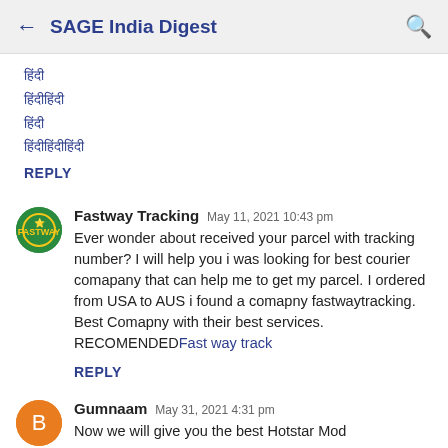← SAGE India Digest 🔍
हिंदी
हिंदी
हिंदी
हिंदीहिंदी
REPLY
Fastway Tracking  May 11, 2021 10:43 pm
Ever wonder about received your parcel with tracking number? I will help you i was looking for best courier comapany that can help me to get my parcel. I ordered from USA to AUS i found a comapny fastwaytracking. Best Comapny with their best services. RECOMENDEDFast way track
REPLY
Gumnaam  May 31, 2021 4:31 pm
Now we will give you the best Hotstar Mod